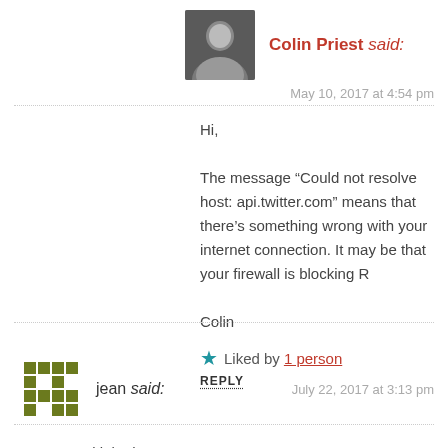[Figure (photo): Avatar photo of Colin Priest, a man in a suit]
Colin Priest said:
May 10, 2017 at 4:54 pm
Hi,

The message “Could not resolve host: api.twitter.com” means that there’s something wrong with your internet connection. It may be that your firewall is blocking R

Colin
★ Liked by 1 person
REPLY
[Figure (illustration): Green pixel/identicon avatar for user jean]
jean said:
July 22, 2017 at 3:13 pm
Very good job, thx!!!
★ Like